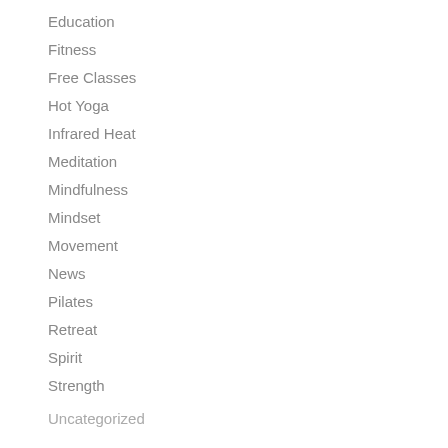Education
Fitness
Free Classes
Hot Yoga
Infrared Heat
Meditation
Mindfulness
Mindset
Movement
News
Pilates
Retreat
Spirit
Strength
Uncategorized